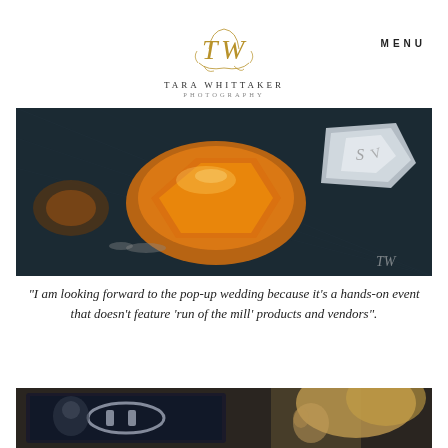[Figure (logo): TW monogram logo in gold with ornamental script, text TARA WHITTAKER PHOTOGRAPHY below]
MENU
[Figure (photo): Close-up macro photograph of amber and silver jewelry pieces on dark fabric, with TW watermark]
“I am looking forward to the pop-up wedding because it’s a hands-on event that doesn’t feature ‘run of the mill’ products and vendors”.
[Figure (photo): Person looking at a tablet screen displaying jewelry, with blurred background]